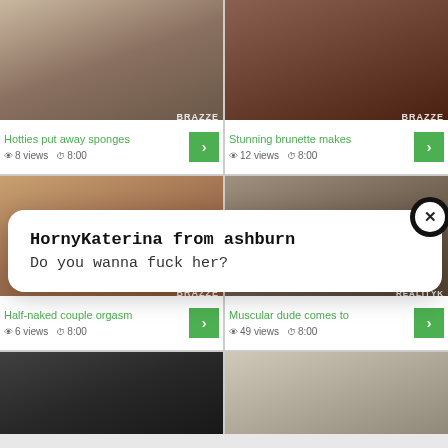[Figure (screenshot): Video thumbnail grid showing adult content website with 6 video cards in 2-column layout, plus a popup notification overlay reading 'HornyKaterina from ashburn / Do you wanna fuck her?']
Hotties put away sponges
8 views  8:00
Stunning brunette makes
12 views  8:00
HornyKaterina from ashburn
Do you wanna fuck her?
Half-naked couple orgasm
6 views  8:00
Muscular dude comes to
49 views  8:00